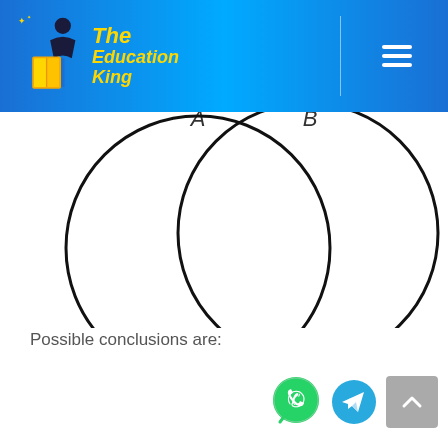The Education King
[Figure (illustration): Venn diagram showing two overlapping circles labeled A (left) and B (right), partially cropped at top. The circles overlap in the center creating an intersection region.]
Possible conclusions are: